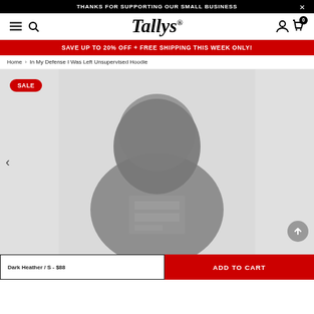THANKS FOR SUPPORTING OUR SMALL BUSINESS
[Figure (logo): Tallys brand logo with hamburger menu and search icon on left, account and cart icons on right]
SAVE UP TO 20% OFF + FREE SHIPPING THIS WEEK ONLY!
Home › In My Defense I Was Left Unsupervised Hoodie
[Figure (photo): Blurred photo of a person wearing a dark hoodie with a graphic print on the chest. A red SALE badge is shown top-left. Navigation arrows visible on left and bottom-right.]
Dark Heather / S - $88
ADD TO CART